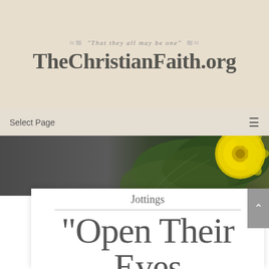"That they all may be one" TheChristianFaith.org
Select Page
[Figure (photo): Hero banner image showing green leaves and a yellow flower on the right side, with a dark gray gradient on the left side.]
Jottings
"Open Their Eyes